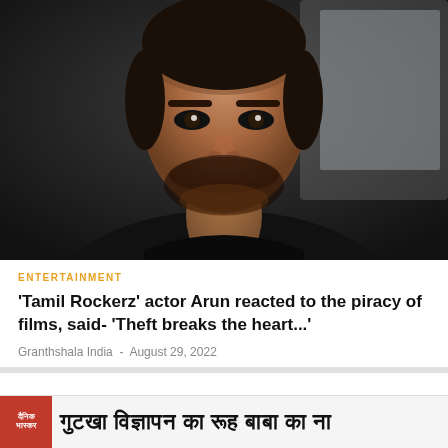[Figure (photo): Close-up photo of Indian actor Arun, a man with dark beard and black t-shirt, looking intensely at camera, with a car visible in the background]
ENTERTAINMENT
'Tamil Rockerz' actor Arun reacted to the piracy of films, said- 'Theft breaks the heart...'
Granthshala India  -  August 29, 2022
[Figure (screenshot): Dainik Bhaskar advertisement banner with Hindi text reading: गुटखा विज्ञापन का रूह बाबा का ना]